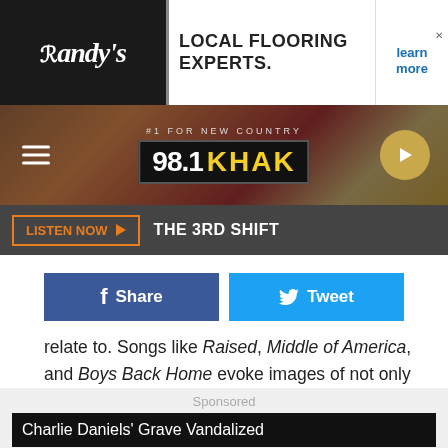[Figure (screenshot): Randy's Local Flooring Experts advertisement banner with learn more button]
[Figure (screenshot): 98.1 KHAK radio station header with #1 For New Country tagline, menu icon, and play button]
[Figure (screenshot): Listen Now button with THE 3RD SHIFT text on dark bar]
[Figure (screenshot): Facebook Share and Twitter Tweet social buttons]
relate to. Songs like Raised, Middle of America, and Boys Back Home evoke images of not only the life that Whitters has lived but the life that I've lived. How great is it to have a country album that doesn't simply categorize Iowa as a flyover state, but instead pines about the things that make it special? I wish I'd had this album to listen to my whole life.
Sponsored
Charlie Daniels' Grave Vandalized